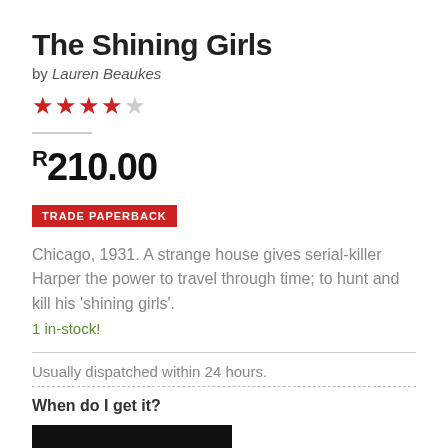The Shining Girls
by Lauren Beaukes
[Figure (other): 4.5 out of 5 stars rating shown with red filled stars and one empty star]
R210.00
TRADE PAPERBACK
Chicago, 1931. A strange house gives serial-killer Harper the power to travel through time; to hunt and kill his 'shining girls'.
1 in-stock!
Usually dispatched within 24 hours.
When do I get it?
[Figure (other): Black button/bar element at bottom]